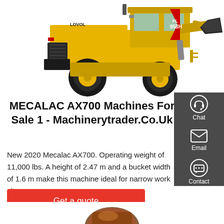[Figure (photo): Yellow LOVOL FL 958H wheel loader / construction machine photographed on white background, showing front bucket and large tires.]
MECALAC AX700 Machines For Sale 1 - Machinerytrader.Co.Uk
New 2020 Mecalac AX700. Operating weight of 11,000 lbs. A height of 2.47 m and a bucket width of 1.6 m make this machine ideal for narrow work sites.
Get a quote
[Figure (photo): Partial view of a brown/orange construction machine at the bottom of the page.]